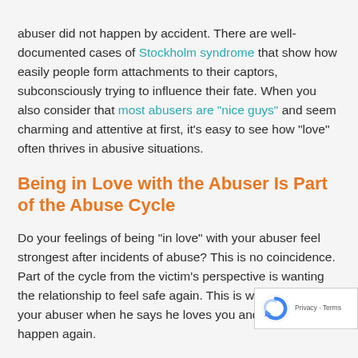abuser did not happen by accident. There are well-documented cases of Stockholm syndrome that show how easily people form attachments to their captors, subconsciously trying to influence their fate. When you also consider that most abusers are "nice guys" and seem charming and attentive at first, it's easy to see how "love" often thrives in abusive situations.
Being in Love with the Abuser Is Part of the Abuse Cycle
Do your feelings of being "in love" with your abuser feel strongest after incidents of abuse? This is no coincidence. Part of the cycle from the victim's perspective is wanting the relationship to feel safe again. This is why you believe your abuser when he says he loves you and it'll never happen again.
You shouldn't feel ashamed for taking your partner each time he abuses you. By doing what he wants, you